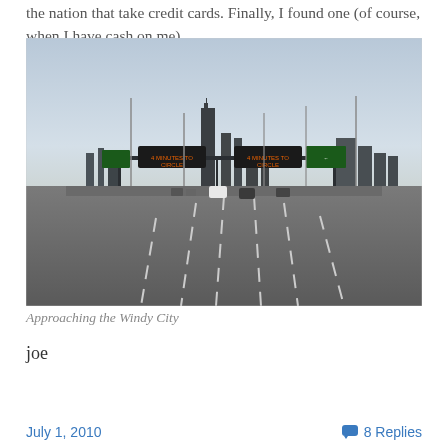the nation that take credit cards. Finally, I found one (of course, when I have cash on me)
[Figure (photo): Highway approach into Chicago, showing overhead directional signs, city skyline including Willis Tower in background, cars on multi-lane road, dusk/dawn lighting]
Approaching the Windy City
joe
July 1, 2010   💬 8 Replies